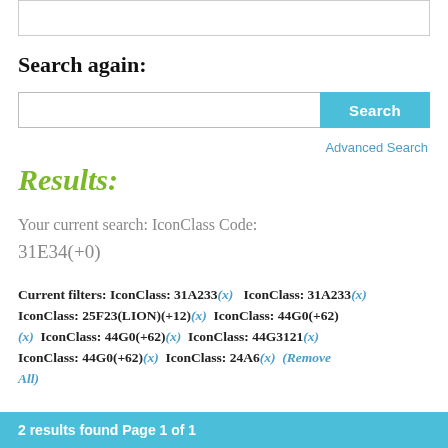Search again:
[Figure (screenshot): Search input box with Search button and Advanced Search link]
Results:
Your current search: IconClass Code: 31E34(+0)
Current filters: IconClass: 31A233(x)  IconClass: 31A233(x) IconClass: 25F23(LION)(+12)(x)  IconClass: 44G0(+62)(x)  IconClass: 44G0(+62)(x)  IconClass: 44G3121(x) IconClass: 44G0(+62)(x)  IconClass: 24A6(x)  (Remove All)
2 results found Page 1 of 1